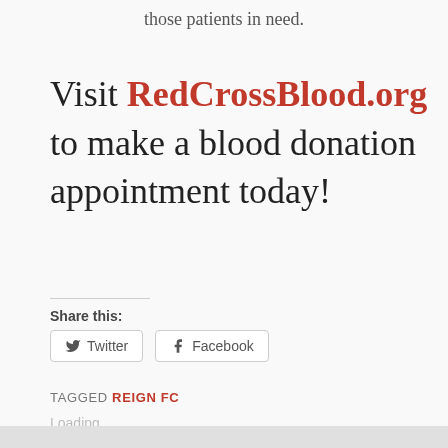those patients in need.
Visit RedCrossBlood.org to make a blood donation appointment today!
Share this:
Twitter
Facebook
Loading...
TAGGED REIGN FC